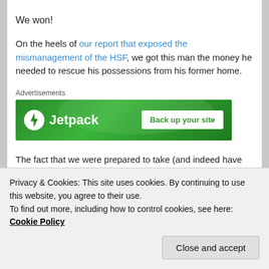We won!
On the heels of our report that exposed the mismanagement of the HSF, we got this man the money he needed to rescue his possessions from his former home.
[Figure (other): Jetpack advertisement banner — green background with Jetpack logo (lightning bolt icon) and text 'Jetpack', plus a white button reading 'Back up your site'. Labelled 'Advertisements' above.]
The fact that we were prepared to take (and indeed have taken) direct action played no small part in
Privacy & Cookies: This site uses cookies. By continuing to use this website, you agree to their use.
To find out more, including how to control cookies, see here: Cookie Policy
Close and accept